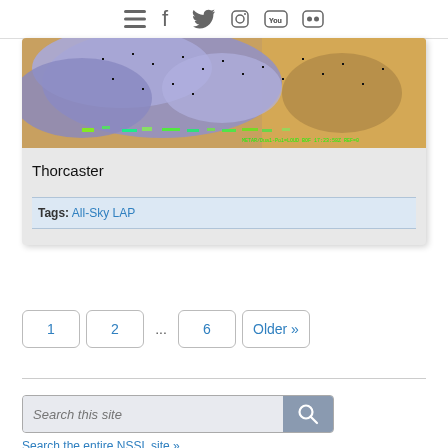Navigation icons: menu, facebook, twitter, instagram, youtube, flickr
[Figure (photo): Aerial/satellite weather map image showing cloud formations over terrain with green text overlays and location markers]
Thorcaster
Tags: All-Sky LAP
1  2  ...  6  Older »
Search this site
Search the entire NSSL site »